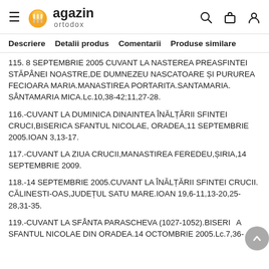Magazin ortodox
Descriere   Detalii produs   Comentarii   Produse similare
115. 8 SEPTEMBRIE 2005 CUVANT LA NASTEREA PREASFINTEI STĂPÂNEI NOASTRE,DE DUMNEZEU NASCATOARE ȘI PURUREA FECIOARA MARIA.MANASTIREA PORTARITA.SANTAMARIA. SÂNTAMARIA MICA.Lc.10,38-42;11,27-28.
116.-CUVANT LA DUMINICA DINAINTEA ÎNĂLȚĂRII SFINTEI CRUCI,BISERICA SFANTUL NICOLAE, ORADEA,11 SEPTEMBRIE 2005.IOAN 3,13-17.
117.-CUVANT LA ZIUA CRUCII,MANASTIREA FEREDEU,ȘIRIA,14 SEPTEMBRIE 2009.
118.-14 SEPTEMBRIE 2005.CUVANT LA ÎNĂLȚĂRII SFINTEI CRUCII. CĂLINESTI-OAS,JUDEȚUL SATU MARE.IOAN 19,6-11,13-20,25-28,31-35.
119.-CUVANT LA SFÂNTA PARASCHEVA (1027-1052).BISERICA SFANTUL NICOLAE DIN ORADEA.14 OCTOMBRIE 2005.Lc.7,36-50.